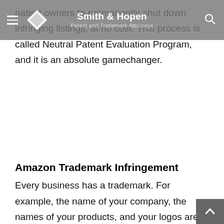Smith & Hopen — Patent and Trademark Attorneys
patent owners to permanently shut down infringing listings, at no cost. This process is called Neutral Patent Evaluation Program, and it is an absolute gamechanger.
Amazon Trademark Infringement
Every business has a trademark. For example, the name of your company, the names of your products, and your logos are all trademarks. Your trademarks are your property. As your business grows and consumers begin to recognize your brand, your competitors will look for ways to freeride off your hard work by using your